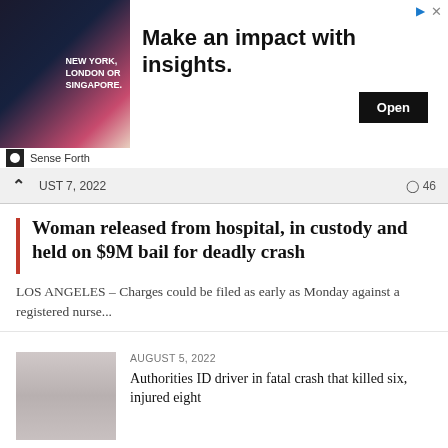[Figure (infographic): Advertisement banner: image of a man in suit with 'NEW YORK, LONDON OR SINGAPORE.' text, headline 'Make an impact with insights.' and an Open button. Sponsored by Sense Forth.]
AUGUST 7, 2022 ○ 46
Woman released from hospital, in custody and held on $9M bail for deadly crash
LOS ANGELES – Charges could be filed as early as Monday against a registered nurse...
AUGUST 5, 2022
Authorities ID driver in fatal crash that killed six, injured eight
JULY 27, 2022
LAPD says sixth street bridge will be closed indefinitely